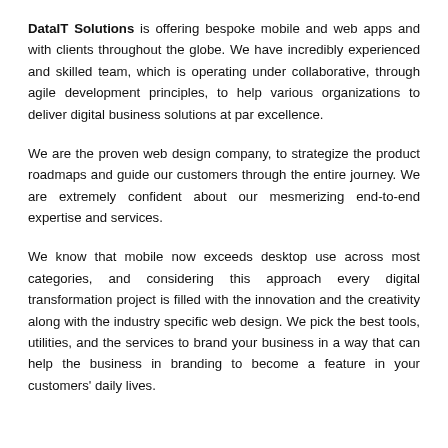DataIT Solutions is offering bespoke mobile and web apps and with clients throughout the globe. We have incredibly experienced and skilled team, which is operating under collaborative, through agile development principles, to help various organizations to deliver digital business solutions at par excellence.
We are the proven web design company, to strategize the product roadmaps and guide our customers through the entire journey. We are extremely confident about our mesmerizing end-to-end expertise and services.
We know that mobile now exceeds desktop use across most categories, and considering this approach every digital transformation project is filled with the innovation and the creativity along with the industry specific web design. We pick the best tools, utilities, and the services to brand your business in a way that can help the business in branding to become a feature in your customers' daily lives.